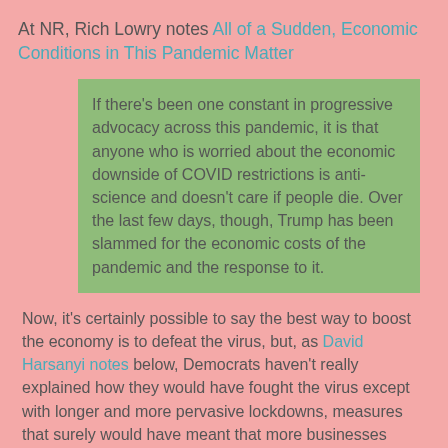At NR, Rich Lowry notes All of a Sudden, Economic Conditions in This Pandemic Matter
If there's been one constant in progressive advocacy across this pandemic, it is that anyone who is worried about the economic downside of COVID restrictions is anti-science and doesn't care if people die. Over the last few days, though, Trump has been slammed for the economic costs of the pandemic and the response to it.
Now, it's certainly possible to say the best way to boost the economy is to defeat the virus, but, as David Harsanyi notes below, Democrats haven't really explained how they would have fought the virus except with longer and more pervasive lockdowns, measures that surely would have meant that more businesses would be bankrupt right now and more people out of work. A couple of nights ago, there was a compelling